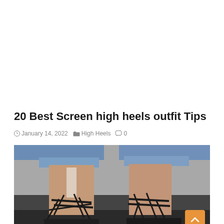20 Best Screen high heels outfit Tips
January 14, 2022  High Heels  0
[Figure (photo): Close-up photo of a person wearing black strappy lace-up high heel shoes with distressed denim shorts, photographed from the ankles down.]